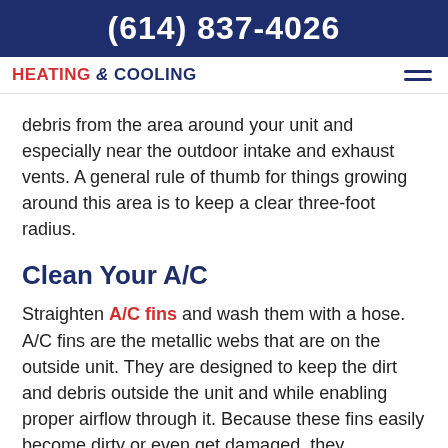(614) 837-4026
HEATING & COOLING
debris from the area around your unit and especially near the outdoor intake and exhaust vents. A general rule of thumb for things growing around this area is to keep a clear three-foot radius.
Clean Your A/C
Straighten A/C fins and wash them with a hose. A/C fins are the metallic webs that are on the outside unit. They are designed to keep the dirt and debris outside the unit and while enabling proper airflow through it. Because these fins easily become dirty or even get damaged, they sometimes need to be cleaned